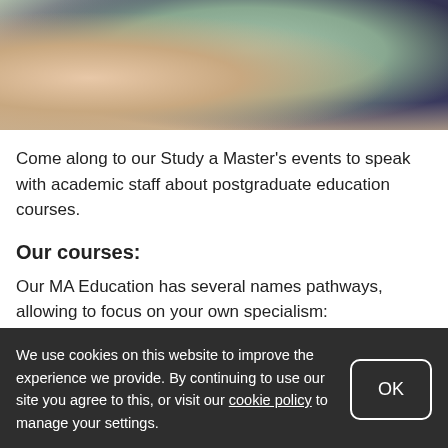[Figure (photo): Photo of students at a table, partially cropped at the top of the page]
Come along to our Study a Master's events to speak with academic staff about postgraduate education courses.
Our courses:
Our MA Education has several names pathways, allowing to focus on your own specialism:
MA Education
MA Education (International Education)
We use cookies on this website to improve the experience we provide. By continuing to use our site you agree to this, or visit our cookie policy to manage your settings.